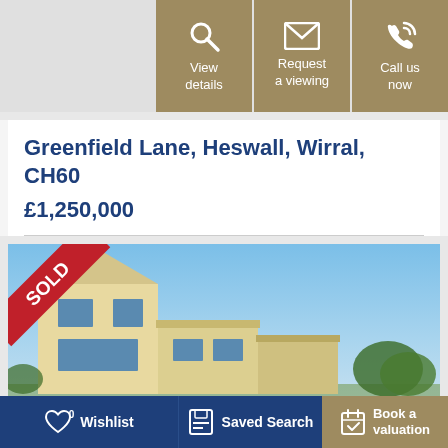[Figure (infographic): Three action buttons: View details (magnifying glass icon), Request a viewing (envelope icon), Call us now (phone icon), all with gold/tan background]
Greenfield Lane, Heswall, Wirral, CH60
£1,250,000
[Figure (photo): Photo of a modern two-storey house with cream/beige render, large windows, blue sky background. A red 'SOLD' diagonal ribbon banner is in the top-left corner.]
0 Wishlist   Saved Search   Book a valuation